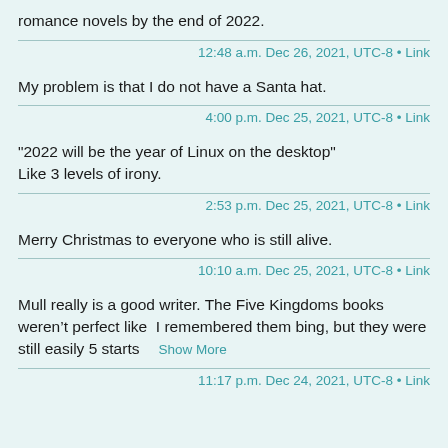romance novels by the end of 2022.
12:48 a.m. Dec 26, 2021, UTC-8 • Link
My problem is that I do not have a Santa hat.
4:00 p.m. Dec 25, 2021, UTC-8 • Link
"2022 will be the year of Linux on the desktop" Like 3 levels of irony.
2:53 p.m. Dec 25, 2021, UTC-8 • Link
Merry Christmas to everyone who is still alive.
10:10 a.m. Dec 25, 2021, UTC-8 • Link
Mull really is a good writer. The Five Kingdoms books weren't perfect like  I remembered them bing, but they were still easily 5 starts   Show More
11:17 p.m. Dec 24, 2021, UTC-8 • Link